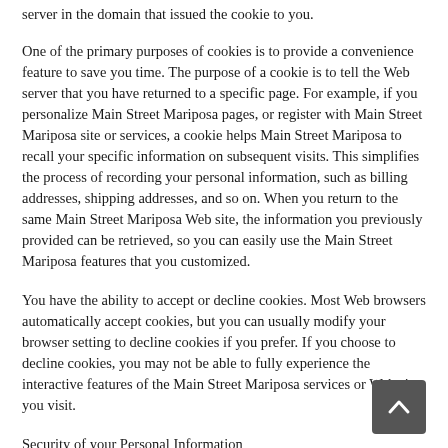server in the domain that issued the cookie to you.
One of the primary purposes of cookies is to provide a convenience feature to save you time. The purpose of a cookie is to tell the Web server that you have returned to a specific page. For example, if you personalize Main Street Mariposa pages, or register with Main Street Mariposa site or services, a cookie helps Main Street Mariposa to recall your specific information on subsequent visits. This simplifies the process of recording your personal information, such as billing addresses, shipping addresses, and so on. When you return to the same Main Street Mariposa Web site, the information you previously provided can be retrieved, so you can easily use the Main Street Mariposa features that you customized.
You have the ability to accept or decline cookies. Most Web browsers automatically accept cookies, but you can usually modify your browser setting to decline cookies if you prefer. If you choose to decline cookies, you may not be able to fully experience the interactive features of the Main Street Mariposa services or Web sites you visit.
Security of your Personal Information
Main Street Mariposa secures your personal information from